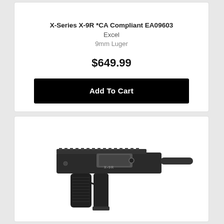X-Series X-9R *CA Compliant EA09603
Excel
9mm Luger
$649.99
Add To Cart
[Figure (photo): Black semi-automatic pistol (Excel X-9R) shown in right-facing profile with pistol grip, extended magazine, rail on top, and barrel protruding to the right]